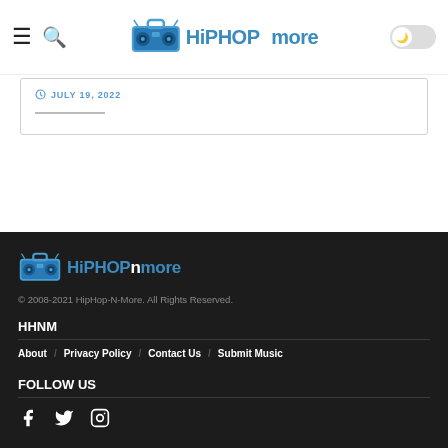HiPHOPnMore navigation bar with menu, search, logo, and dark mode toggle
JULY 19, 2022
[Figure (logo): HipHopNMore footer logo with boombox icon]
© 2008-2021 HipHop-N-More. All Rights Reserved.
HHNM
About / Privacy Policy / Contact Us / Submit Music
FOLLOW US
[Figure (illustration): Social media icons: Facebook, Twitter, Instagram]